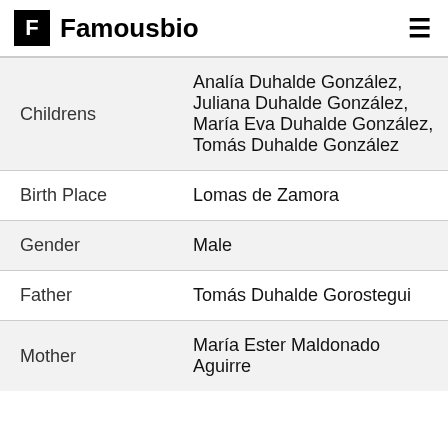F Famousbio
| Field | Value |
| --- | --- |
| Childrens | Analía Duhalde González, Juliana Duhalde González, María Eva Duhalde González, Tomás Duhalde González |
| Birth Place | Lomas de Zamora |
| Gender | Male |
| Father | Tomás Duhalde Gorostegui |
| Mother | María Ester Maldonado Aguirre |